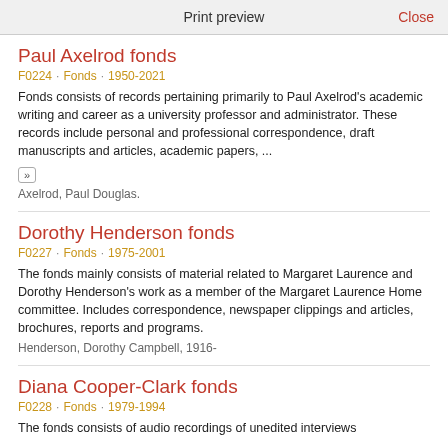Print preview   Close
Paul Axelrod fonds
F0224 · Fonds · 1950-2021
Fonds consists of records pertaining primarily to Paul Axelrod's academic writing and career as a university professor and administrator. These records include personal and professional correspondence, draft manuscripts and articles, academic papers, ...
Axelrod, Paul Douglas.
Dorothy Henderson fonds
F0227 · Fonds · 1975-2001
The fonds mainly consists of material related to Margaret Laurence and Dorothy Henderson's work as a member of the Margaret Laurence Home committee. Includes correspondence, newspaper clippings and articles, brochures, reports and programs.
Henderson, Dorothy Campbell, 1916-
Diana Cooper-Clark fonds
F0228 · Fonds · 1979-1994
The fonds consists of audio recordings of unedited interviews